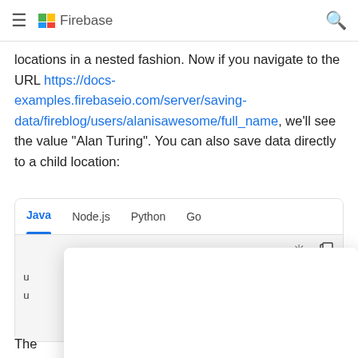Firebase
locations in a nested fashion. Now if you navigate to the URL https://docs-examples.firebaseio.com/server/saving-data/fireblog/users/alanisawesome/full_name, we'll see the value "Alan Turing". You can also save data directly to a child location:
[Figure (screenshot): Code panel with tabs: Java (active/selected), Node.js, Python, Go. Below tabs is a dark-themed code area with brightness and copy icons. Two partial code lines visible on the left (u, u) and two partial purple text items on the right (new, lser). A white overlay card covers most of the code area.]
The ... me time ... loca ... our data ...